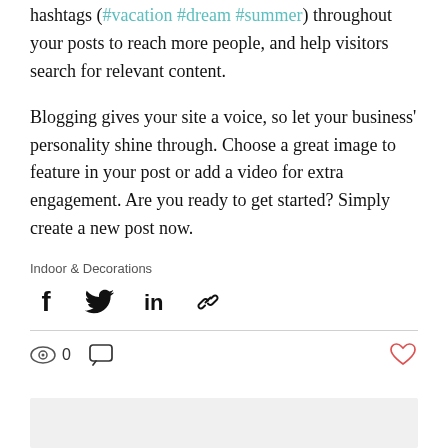hashtags (#vacation #dream #summer) throughout your posts to reach more people, and help visitors search for relevant content.
Blogging gives your site a voice, so let your business' personality shine through. Choose a great image to feature in your post or add a video for extra engagement. Are you ready to get started? Simply create a new post now.
Indoor & Decorations
[Figure (infographic): Social share buttons: Facebook, Twitter, LinkedIn, and link icons]
[Figure (infographic): Post stats row: eye/views icon showing 0, comment icon, and heart/like icon on the right]
[Figure (other): Gray rectangle at bottom of page]